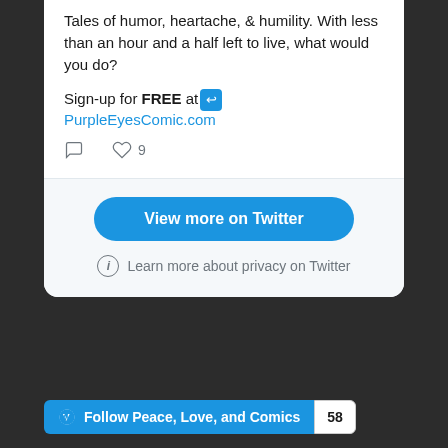Tales of humor, heartache, & humility. With less than an hour and a half left to live, what would you do?
Sign-up for FREE at [icon] PurpleEyesComic.com
View more on Twitter
Learn more about privacy on Twitter
Follow Peace, Love, and Comics 58